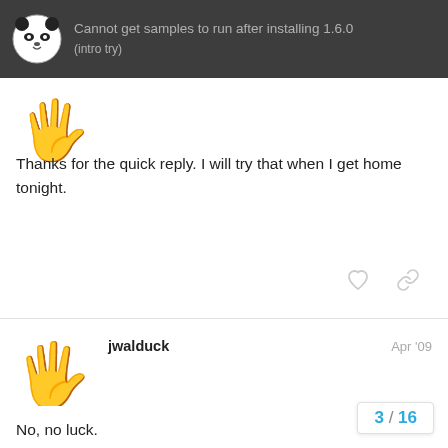Cannot get samples to run after installing 1.6.0 (intro try)
Thanks for the quick reply. I will try that when I get home tonight.
jwalduck   Apr '09
No, no luck.

Checked screen colour depth - its 32 bit
Changed depth-bits and color-bits to 1 in Config.prc

When I use the sample shortcuts a command window comes up with “DirectStart: starting the game”, then some more text, then a second blank, Then both windows close. I am sure th
3 / 16